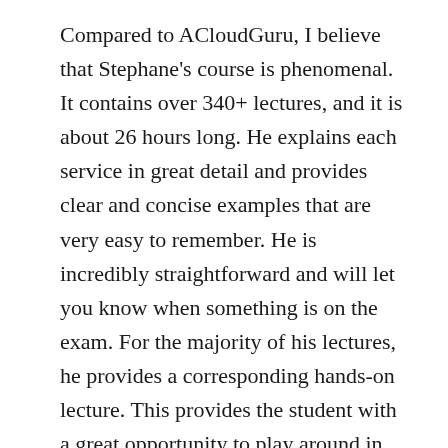Compared to ACloudGuru, I believe that Stephane's course is phenomenal. It contains over 340+ lectures, and it is about 26 hours long. He explains each service in great detail and provides clear and concise examples that are very easy to remember. He is incredibly straightforward and will let you know when something is on the exam. For the majority of his lectures, he provides a corresponding hands-on lecture. This provides the student with a great opportunity to play around in the console with various services in AWS with Stephane. For those who have free-tier